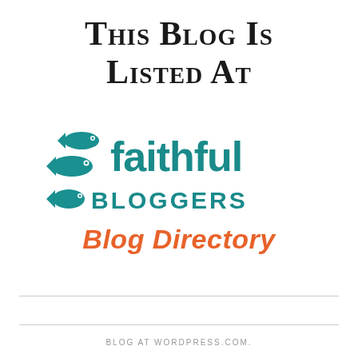This Blog Is Listed At
[Figure (logo): Faithful Bloggers Blog Directory logo with two teal fish icons and stylized text]
BLOG AT WORDPRESS.COM.